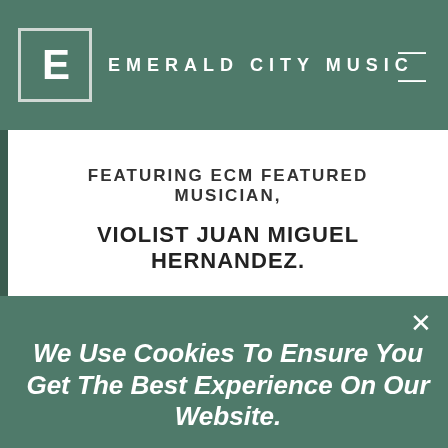E EMERALD CITY MUSIC
FEATURING ECM FEATURED MUSICIAN, VIOLIST JUAN MIGUEL HERNANDEZ.
We Use Cookies To Ensure You Get The Best Experience On Our Website.
Learn More In Our Privacy Policy
ACCEPT COOKIES
DECLINE COOKIES